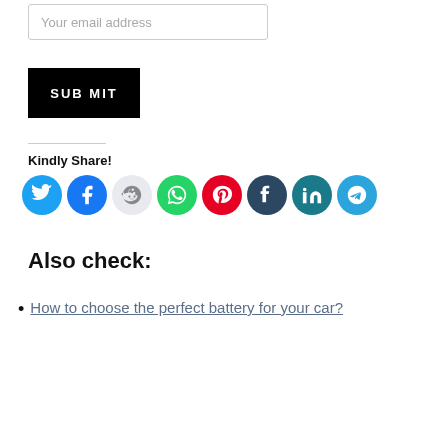Your email address
SUBMIT
Kindly Share!
[Figure (other): Social media share icons: Twitter (blue), Facebook (blue), Reddit (light gray), WhatsApp (green), Pinterest (red), Tumblr (dark navy), LinkedIn (teal), Telegram (light blue)]
Also check:
How to choose the perfect battery for your car?